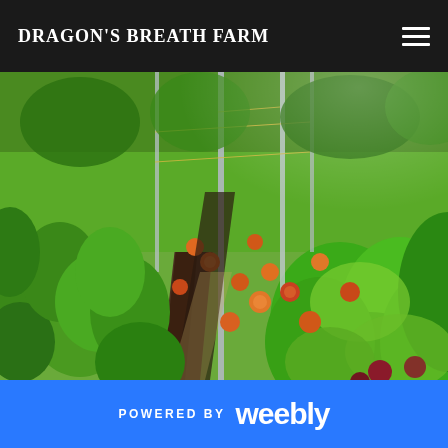DRAGON'S BREATH FARM
[Figure (photo): Outdoor farm rows with orange zinnia flowers, green leafy plants, metal poles/stakes, and dirt pathways between planted rows under bright sunlight]
POWERED BY weebly